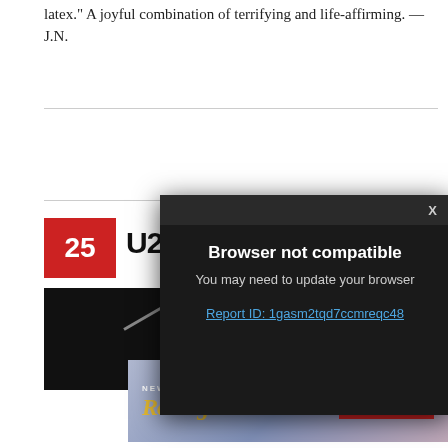latex." A joyful combination of terrifying and life-affirming. — J.N.
25
U2
[Figure (photo): Dark photograph with faint diagonal line/light streak on dark background]
[Figure (screenshot): Browser not compatible modal overlay on dark background with close X button. Text: 'Browser not compatible', 'You may need to update your browser', 'Report ID: 1gasm2tqd7ccmreqc48']
[Figure (other): Rolling Stone magazine advertisement. Text: NEW, RollingStone, .com, ON SALE SEP 5, SUBSCRIBE]